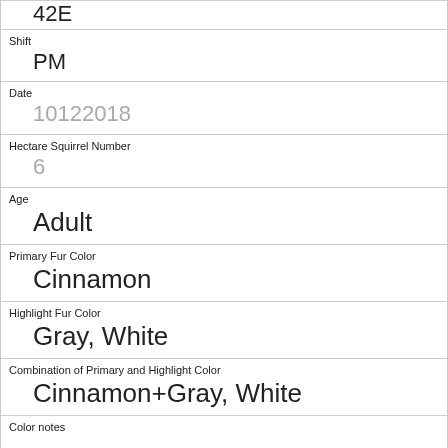42E
Shift
PM
Date
10122018
Hectare Squirrel Number
6
Age
Adult
Primary Fur Color
Cinnamon
Highlight Fur Color
Gray, White
Combination of Primary and Highlight Color
Cinnamon+Gray, White
Color notes
Location
Ground Plane
Above Ground Sighter Measurement
FALSE